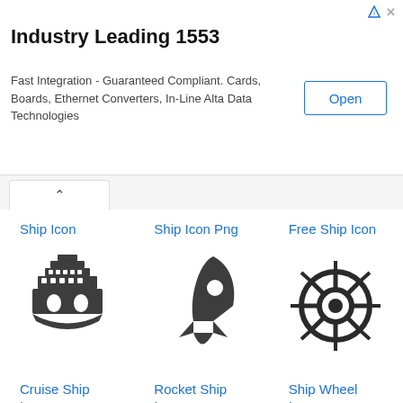[Figure (screenshot): Advertisement banner: Industry Leading 1553. Fast Integration - Guaranteed Compliant. Cards, Boards, Ethernet Converters, In-Line Alta Data Technologies. Open button.]
[Figure (screenshot): Browser tab bar with upward chevron tab and red underline.]
Ship Icon
Ship Icon Png
Free Ship Icon
[Figure (illustration): Cruise ship icon - dark grey silhouette of a cruise ship viewed from front]
[Figure (illustration): Rocket ship icon - dark grey silhouette of a rocket ship pointing upper right]
[Figure (illustration): Ship wheel icon - dark outline of a ship's steering wheel]
Cruise Ship Icon
Rocket Ship Icon
Ship Wheel Icon